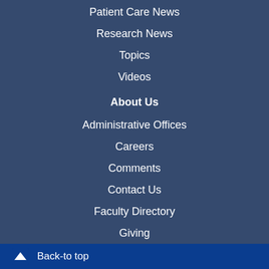Patient Care News
Research News
Topics
Videos
About Us
Administrative Offices
Careers
Comments
Contact Us
Faculty Directory
Giving
Leadership
Maps & Directions
Office of the President
Phone Directory
Sitemap
Back-to top